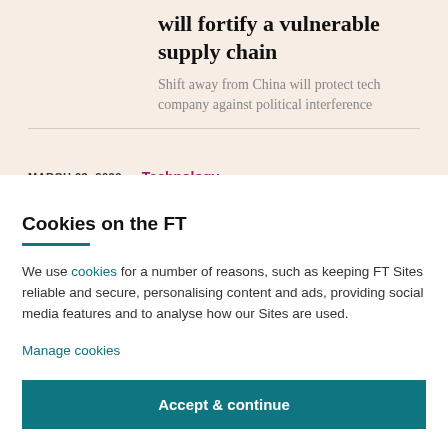will fortify a vulnerable supply chain
Shift away from China will protect tech company against political interference
MARCH 23, 2022
Technology
Cookies on the FT
We use cookies for a number of reasons, such as keeping FT Sites reliable and secure, personalising content and ads, providing social media features and to analyse how our Sites are used.
Manage cookies
Accept & continue